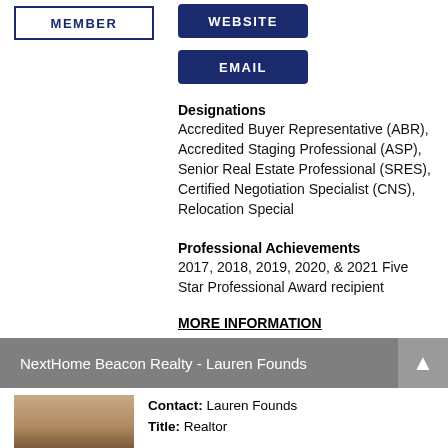[Figure (other): MEMBER button - outlined rectangle with dark blue border and dark blue bold text 'MEMBER']
[Figure (other): WEBSITE button - dark navy blue rounded rectangle with white bold text 'WEBSITE']
[Figure (other): EMAIL button - dark navy blue rounded rectangle with white bold text 'EMAIL']
Designations
Accredited Buyer Representative (ABR), Accredited Staging Professional (ASP), Senior Real Estate Professional (SRES), Certified Negotiation Specialist (CNS), Relocation Special
Professional Achievements
2017, 2018, 2019, 2020, & 2021 Five Star Professional Award recipient
MORE INFORMATION
NextHome Beacon Realty - Lauren Founds
[Figure (photo): Profile photo showing two women]
Contact: Lauren Founds
Title: Realtor